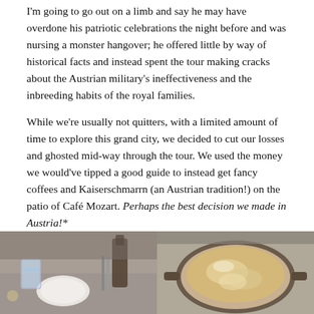I'm going to go out on a limb and say he may have overdone his patriotic celebrations the night before and was nursing a monster hangover; he offered little by way of historical facts and instead spent the tour making cracks about the Austrian military's ineffectiveness and the inbreeding habits of the royal families.
While we're usually not quitters, with a limited amount of time to explore this grand city, we decided to cut our losses and ghosted mid-way through the tour. We used the money we would've tipped a good guide to instead get fancy coffees and Kaiserschmarrn (an Austrian tradition!) on the patio of Café Mozart. Perhaps the best decision we made in Austria!*
[Figure (photo): Two side-by-side photos: left shows a café table setting with a glass of water and white plate; right shows a close-up of Kaiserschmarrn or a coffee drink in a round pan/cup.]